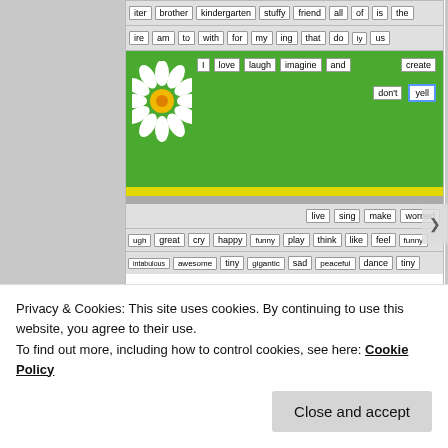[Figure (photo): Word card activity board showing rows of word cards including: iter, brother, kindergarten, stuffy, friend, all, of, is, the / ire, am, to, with, for, my, ing, that, do, ly, us / Green board with daisy image and word cards: I, love, laugh, imagine, and, create, don't, yell / yellow strip / live, sing, make, worried / ugh, great, cry, happy, funny, play, think, like, feel, funny / intabulous, awesome, tiny, gigantic, sad, peaceful, dance, tiny]
[Figure (photo): Green felt board with white word cards arranged in two sentences: 'my brother and sister play with me' and 'kindergarten is fantabulous']
Privacy & Cookies: This site uses cookies. By continuing to use this website, you agree to their use.
To find out more, including how to control cookies, see here: Cookie Policy
Close and accept